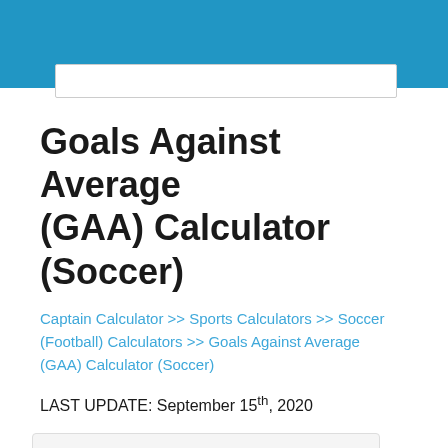[Figure (screenshot): Blue website header bar with white search box visible at bottom edge]
Goals Against Average (GAA) Calculator (Soccer)
Captain Calculator >> Sports Calculators >> Soccer (Football) Calculators >> Goals Against Average (GAA) Calculator (Soccer)
LAST UPDATE: September 15th, 2020
[Figure (screenshot): Calculator widget showing Goals Against field with value 18]